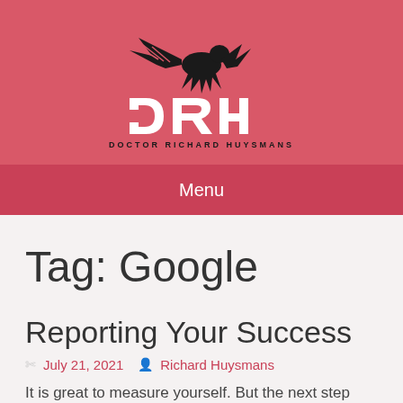[Figure (logo): DRH Doctor Richard Huysmans logo with eagle/hawk silhouette above the letters DRH in white on a pink/red background]
Menu
Tag: Google
Reporting Your Success
July 21, 2021  Richard Huysmans
It is great to measure yourself. But the next step